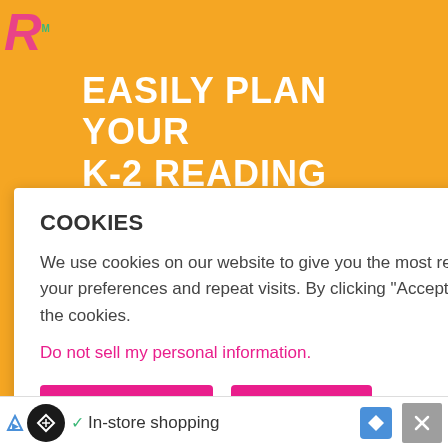[Figure (screenshot): Website screenshot showing cookie consent dialog overlay on an educational website about K-2 reading small groups. Orange background with title banner, cookie popup, children writing photo, and bottom ad bar.]
EASILY PLAN YOUR K-2 READING SMALL
COOKIES
We use cookies on our website to give you the most relevant experience by remembering your preferences and repeat visits. By clicking “Accept”, you consent to the use of ALL the cookies.
Do not sell my personal information.
Cookie Settings
Accept
In-store shopping